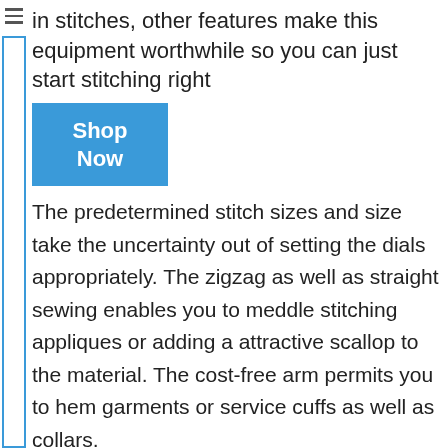in stitches, other features make this equipment worthwhile so you can just start stitching right
[Figure (other): Blue 'Shop Now' button]
The predetermined stitch sizes and size take the uncertainty out of setting the dials appropriately. The zigzag as well as straight sewing enables you to meddle stitching appliques or adding a attractive scallop to the material. The cost-free arm permits you to hem garments or service cuffs as well as collars.
With twin spool pins, you can sew with a twin needle to increase stitch in one pass. It has easy threading and bobbin winding along with an